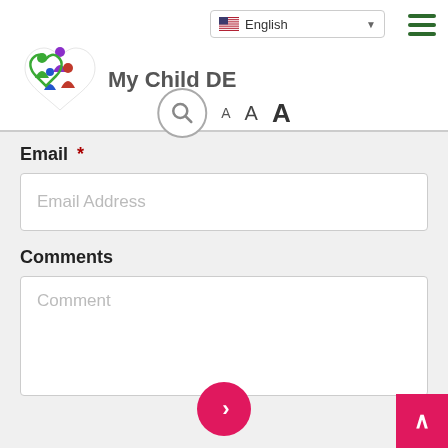[Figure (logo): My Child DE logo with colorful heart figures and text 'My Child DE']
English (language selector dropdown)
Email *
Email Address (placeholder)
Comments
Comment (placeholder)